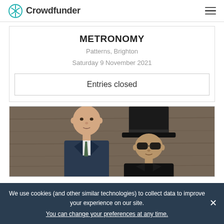Crowdfunder
METRONOMY
Patterns, Brighton
Saturday 9 November 2021
Entries closed
[Figure (photo): Two people posing in front of a wooden background. Left person is bald wearing a suit. Right person wears a large black top hat and sunglasses.]
We use cookies (and other similar technologies) to collect data to improve your experience on our site.
You can change your preferences at any time.